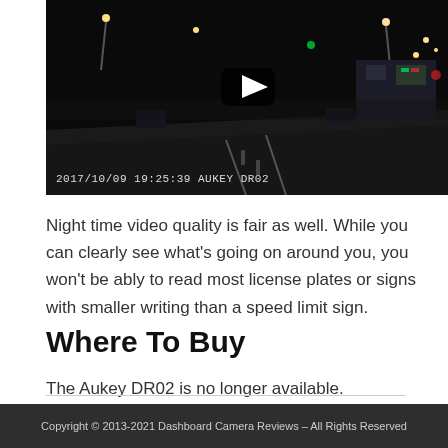[Figure (screenshot): Dashcam night video screenshot showing a dark road with streetlights, cars, and a gas station. Timestamp overlay reads: 2017/10/09 19:25:39 AUKEY DR02. A YouTube-style play button is visible in the center.]
Night time video quality is fair as well. While you can clearly see what's going on around you, you won't be ably to read most license plates or signs with smaller writing than a speed limit sign.
Where To Buy
The Aukey DR02 is no longer available.
Copyright © 2013-2021 Dashboard Camera Reviews – All Rights Reserved